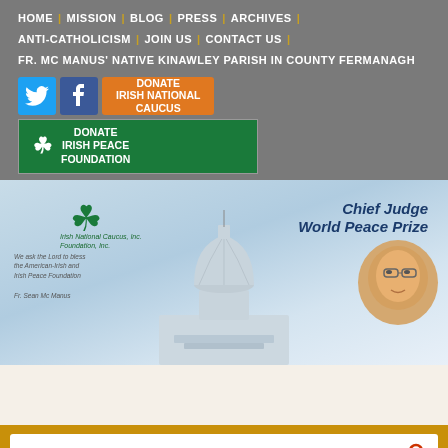HOME | MISSION | BLOG | PRESS | ARCHIVES | ANTI-CATHOLICISM | JOIN US | CONTACT US | FR. MC MANUS' NATIVE KINAWLEY PARISH IN COUNTY FERMANAGH
[Figure (screenshot): Navigation social/donate buttons: Twitter bird icon, Facebook 'f' icon, orange 'DONATE IRISH NATIONAL CAUCUS' button, green 'DONATE IRISH PEACE FOUNDATION' button with shamrock]
[Figure (photo): Banner image with US Capitol dome, Irish National Caucus shamrock logo top left, italic text 'Chief Judge World Peace Prize' top right, blurred portrait photo of a man bottom right, small italic text bottom left]
SEARCH OUR SITE - ENTER TOPIC OR KEYWORD HERE.